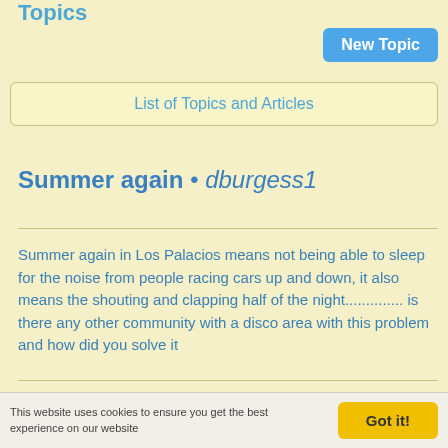Topics
New Topic
List of Topics and Articles
Summer again • dburgess1
Summer again in Los Palacios means not being able to sleep for the noise from people racing cars up and down, it also means the shouting and clapping half of the night.............. is there any other community with a disco area with this problem and how did you solve it
Back
Back to A Spanish Life
This website uses cookies to ensure you get the best experience on our website
Got it!